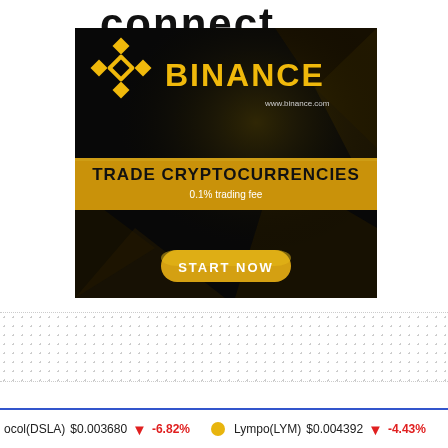connect
[Figure (illustration): Binance cryptocurrency exchange advertisement. Dark background with gold Binance diamond logo and BINANCE text. URL: www.binance.com. Gold banner: TRADE CRYPTOCURRENCIES, 0.1% trading fee. Gold pill button: START NOW.]
ocol(DSLA) $0.003680 ↓ -6.82%   Lympo(LYM) $0.004392 ↓ -4.43%